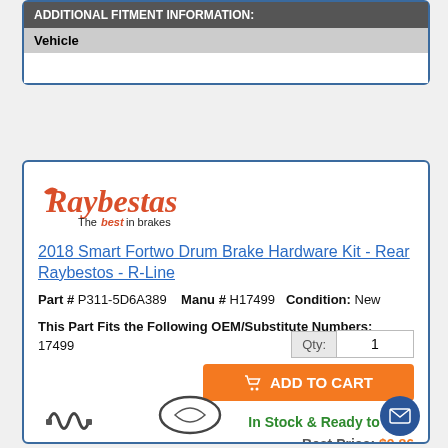ADDITIONAL FITMENT INFORMATION:
| Vehicle |
| --- |
|  |
[Figure (logo): Raybestos - The best in brakes logo]
2018 Smart Fortwo Drum Brake Hardware Kit - Rear Raybestos - R-Line
Part # P311-5D6A389   Manu # H17499   Condition: New
This Part Fits the Following OEM/Substitute Numbers:
17499
Qty: 1
ADD TO CART
In Stock & Ready to Ship
Best Price: $9.86